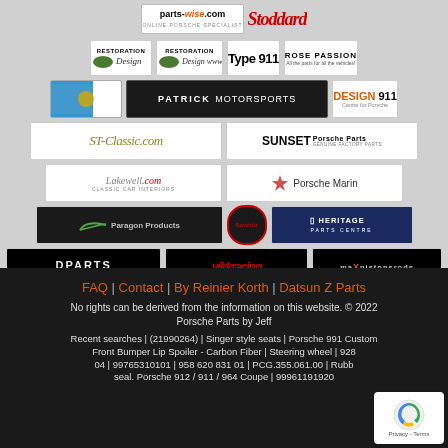[Figure (logo): parts-wise.com online Porsche specialist logo]
[Figure (logo): Stoddard logo in red cursive script]
[Figure (logo): Restoration Design logo (4 logos in row: two Restoration Design variants, Type 911, Rose Passion)]
[Figure (logo): Patrick Motorsports logo and Design 911 Centre for Porsche logo]
[Figure (logo): ST-Classic.com and Sunset Porsche Parts logos]
[Figure (logo): Lakewell.com Classic Car Interiors and Porsche Marin logos]
[Figure (logo): Paragon Products, Savesto, and Heritage Parts Centre logos]
[Figure (logo): DPARTS, Vikk Racing, and MrXpistonsrods logos]
FAQ | Contact | By Reinier Korth | Datsun Z Parts
No rights can be derived from the information on this website. © 2022 Porsche Parts by Jeff
Recent searches | (21990264) | Singer style seats | Porsche 991 Custom Front Bumper Lip Spoiler - Carbon Fiber | Steering wheel | 928 04 | 99765310101 | 958 620 831 01 | PCG.355.061.00 | Rubber seal. Porsche 912 / 911 / 964 Coupe | 99961191920